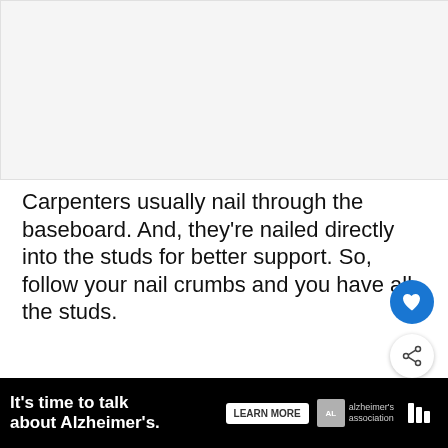[Figure (photo): Light gray image placeholder area at top of page]
Carpenters usually nail through the baseboard. And, they're nailed directly into the studs for better support. So, follow your nail crumbs and you have all the studs.
Even if the nails are painted over, do... If you look closely, you can still see a little de...
[Figure (infographic): WHAT'S NEXT arrow label with thumbnail image and text: Siding Directly on Studs:...]
[Figure (infographic): Advertisement banner: It's time to talk about Alzheimer's. LEARN MORE. Alzheimer's association logo.]